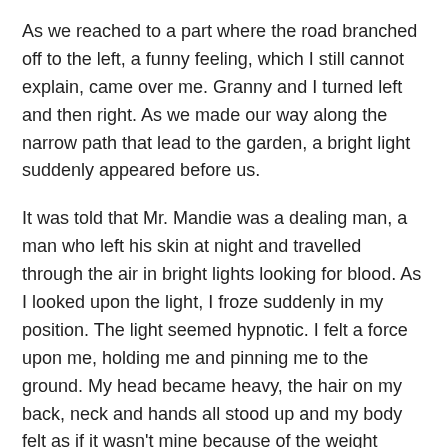As we reached to a part where the road branched off to the left, a funny feeling, which I still cannot explain, came over me. Granny and I turned left and then right. As we made our way along the narrow path that lead to the garden, a bright light suddenly appeared before us.
It was told that Mr. Mandie was a dealing man, a man who left his skin at night and travelled through the air in bright lights looking for blood. As I looked upon the light, I froze suddenly in my position. The light seemed hypnotic. I felt a force upon me, holding me and pinning me to the ground. My head became heavy, the hair on my back, neck and hands all stood up and my body felt as if it wasn't mine because of the weight which had seized it.
As I looked on, the light seemed to be coming down the